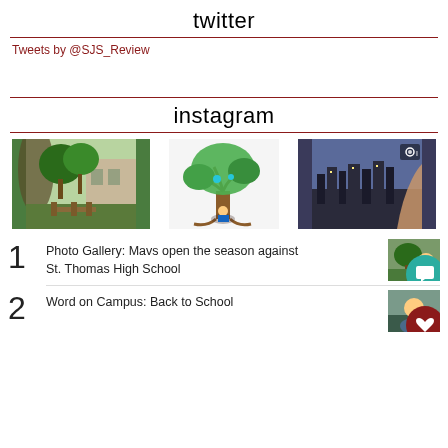twitter
Tweets by @SJS_Review
instagram
[Figure (photo): Three Instagram photos: campus courtyard with trees and outdoor furniture; illustrated tree with a child sitting underneath; cityscape at dusk with person in foreground]
1 Photo Gallery: Mavs open the season against St. Thomas High School
2 Word on Campus: Back to School